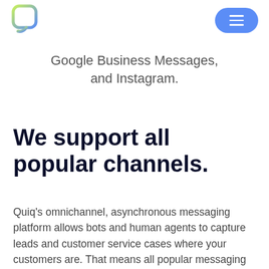[Quiq logo] [Menu button]
Google Business Messages, and Instagram.
We support all popular channels.
Quiq's omnichannel, asynchronous messaging platform allows bots and human agents to capture leads and customer service cases where your customers are. That means all popular messaging channels, including: